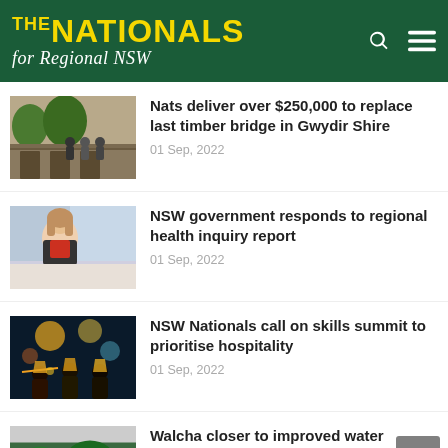The Nationals for Regional NSW
Nats deliver over $250,000 to replace last timber bridge in Gwydir Shire
01 Sep, 2022
NSW government responds to regional health inquiry report
01 Sep, 2022
NSW Nationals call on skills summit to prioritise hospitality
01 Sep, 2022
Walcha closer to improved water